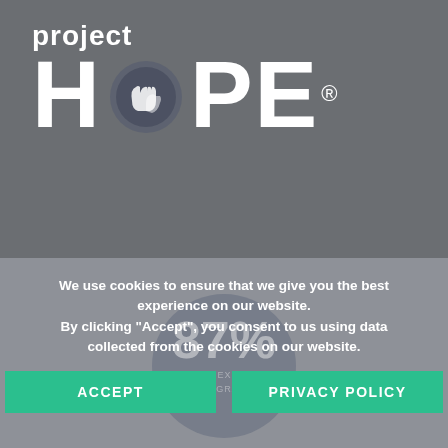[Figure (logo): Project HOPE logo — white text on gray background. Large 'project' text above, then large 'HOPE' with hands icon inside the O letter, and registered trademark symbol.]
HOPE IN THE NEWS    CAREERS
CONTACT US
We use cookies to ensure that we give you the best experience on our website. By clicking "Accept", you consent to us using data collected from the cookies on our website.
ACCEPT
PRIVACY POLICY